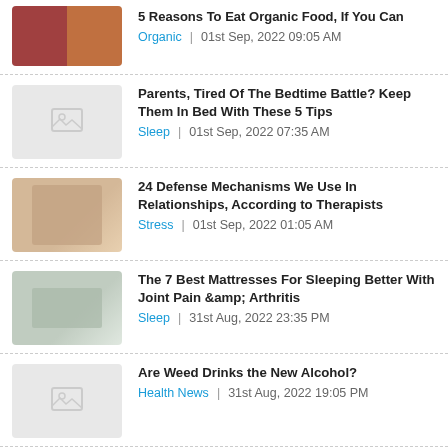5 Reasons To Eat Organic Food, If You Can — Organic | 01st Sep, 2022 09:05 AM
Parents, Tired Of The Bedtime Battle? Keep Them In Bed With These 5 Tips — Sleep | 01st Sep, 2022 07:35 AM
24 Defense Mechanisms We Use In Relationships, According to Therapists — Stress | 01st Sep, 2022 01:05 AM
The 7 Best Mattresses For Sleeping Better With Joint Pain &amp; Arthritis — Sleep | 31st Aug, 2022 23:35 PM
Are Weed Drinks the New Alcohol? — Health News | 31st Aug, 2022 19:05 PM
FDA Authorizes Updated Moderna and Pfizer Booster Shots